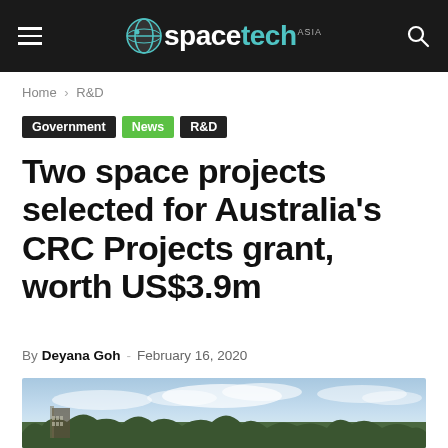spacetech ASIA
Home › R&D
Government  News  R&D
Two space projects selected for Australia's CRC Projects grant, worth US$3.9m
By Deyana Goh - February 16, 2020
[Figure (photo): Outdoor photo showing a blue sky with clouds above a tree line, with some kind of structure visible on the left side.]